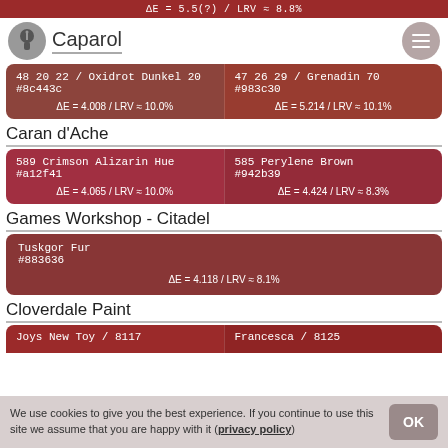ΔE = 5.5 (?) / LRV ≈ 8.8%
Caparol
| Left | Right |
| --- | --- |
| 48 20 22 / Oxidrot Dunkel 20
#8c443c
ΔE = 4.008 / LRV ≈ 10.0% | 47 26 29 / Grenadin 70
#983c30
ΔE = 5.214 / LRV ≈ 10.1% |
Caran d'Ache
| Left | Right |
| --- | --- |
| 589 Crimson Alizarin Hue
#a12f41
ΔE = 4.065 / LRV ≈ 10.0% | 585 Perylene Brown
#942b39
ΔE = 4.424 / LRV ≈ 8.3% |
Games Workshop - Citadel
| Color |
| --- |
| Tuskgor Fur
#883636
ΔE = 4.118 / LRV ≈ 8.1% |
Cloverdale Paint
| Left | Right |
| --- | --- |
| Joys New Toy / 8117 | Francesca / 8125 |
We use cookies to give you the best experience. If you continue to use this site we assume that you are happy with it (privacy policy)